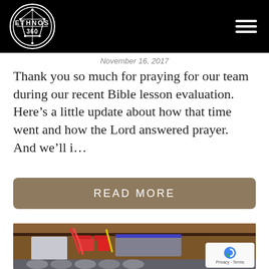ETHNOS 360
November 16, 2017
Thank you so much for praying for our team during our recent Bible lesson evaluation. Here’s a little update about how that time went and how the Lord answered prayer.  And we’ll i…
READ MORE
[Figure (photo): Photo of storage area with wires, batteries, and metal cylinders/cylinders on shelves in a wooden structure]